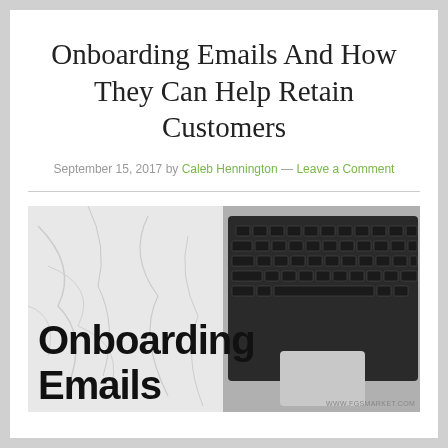Onboarding Emails And How They Can Help Retain Customers
September 15, 2017 by Caleb Hennington — Leave a Comment
[Figure (photo): A laptop keyboard on a marble surface with bold black text overlay reading 'Onboarding Emails' and a watermark 'WWW.FGSMARKET.COM']